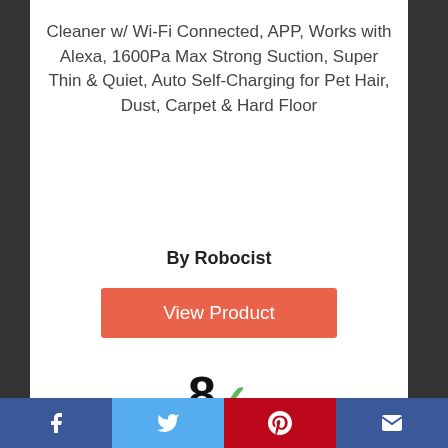Cleaner w/ Wi-Fi Connected, APP, Works with Alexa, 1600Pa Max Strong Suction, Super Thin & Quiet, Auto Self-Charging for Pet Hair, Dust, Carpet & Hard Floor
By Robocist
View Product
8 ✓
Score
6